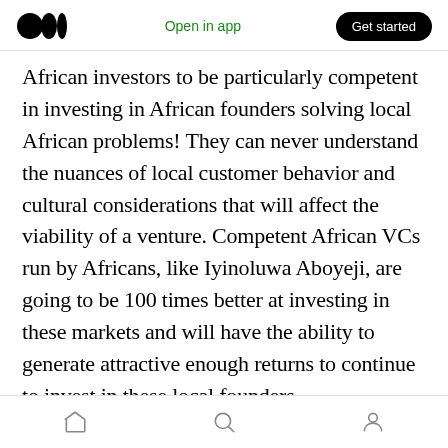Medium logo | Open in app | Get started
African investors to be particularly competent in investing in African founders solving local African problems! They can never understand the nuances of local customer behavior and cultural considerations that will affect the viability of a venture. Competent African VCs run by Africans, like Iyinoluwa Aboyeji, are going to be 100 times better at investing in these markets and will have the ability to generate attractive enough returns to continue to invest in these local founders.
👏 27  💬
Using the same '2019–2021' Africa Deals
Home | Search | Profile